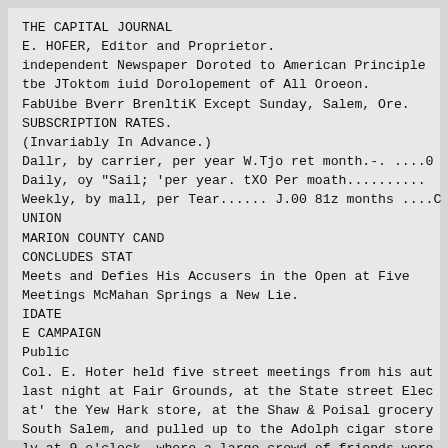THE CAPITAL JOURNAL
E. HOFER, Editor and Proprietor.
independent Newspaper Doroted to American Principle
tbe JToktom iuid Dorolopement of All Oroeon.
FabUibe Bverr BrenltiK Except Sunday, Salem, Ore.
SUBSCRIPTION RATES.
(Invariably In Advance.)
Dallr, by carrier, per year W.Tjo ret month.-. ....0
Daily, oy "Sail; 'per year. tXO Per moath..........
Weekly, by mall, per Tear...... J.00 81z months ....C
UNION
MARION COUNTY CAND
CONCLUDES STAT
Meets and Defies His Accusers in the Open at Five
Meetings McMahan Springs a New Lie.
IDATE
E CAMPAIGN
Public
Col. E. Hoter held five street meetings from his aut
last night at Fair Grounds, at the State street Elec
at' the Yew Hark store, at the Shaw & Poisal grocery
South Salem, and pulled up to the Adolph cigar store
ly at 9 o'clock, where a large crowd of friends were
Met All Accusations.